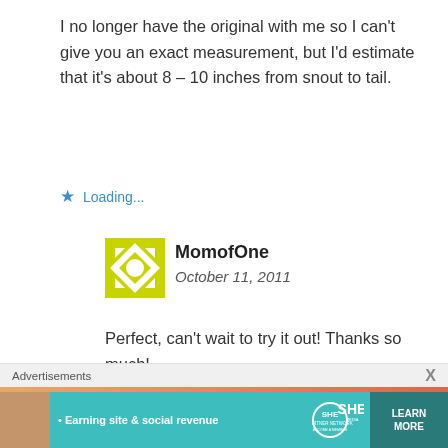I no longer have the original with me so I can't give you an exact measurement, but I'd estimate that it's about 8 – 10 inches from snout to tail.
Loading...
MomofOne
October 11, 2011
Perfect, can't wait to try it out! Thanks so much!
Advertisements X